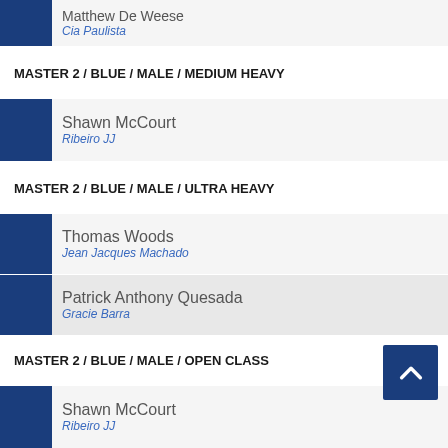Matthew De Weese / Cia Paulista
MASTER 2 / BLUE / MALE / MEDIUM HEAVY
Shawn McCourt / Ribeiro JJ
MASTER 2 / BLUE / MALE / ULTRA HEAVY
Thomas Woods / Jean Jacques Machado
Patrick Anthony Quesada / Gracie Barra
MASTER 2 / BLUE / MALE / OPEN CLASS
Shawn McCourt / Ribeiro JJ